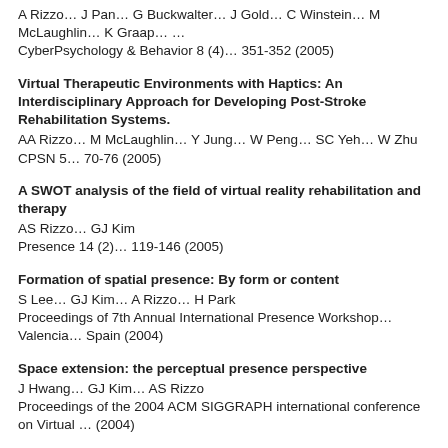A Rizzo… J Pan… G Buckwalter… J Gold… C Winstein… M McLaughlin… K Graap… …
CyberPsychology & Behavior 8 (4)… 351-352 (2005)
Virtual Therapeutic Environments with Haptics: An Interdisciplinary Approach for Developing Post-Stroke Rehabilitation Systems.
AA Rizzo… M McLaughlin… Y Jung… W Peng… SC Yeh… W Zhu
CPSN 5… 70-76 (2005)
A SWOT analysis of the field of virtual reality rehabilitation and therapy
AS Rizzo… GJ Kim
Presence 14 (2)… 119-146 (2005)
Formation of spatial presence: By form or content
S Lee… GJ Kim… A Rizzo… H Park
Proceedings of 7th Annual International Presence Workshop… Valencia… Spain (2004)
Space extension: the perceptual presence perspective
J Hwang… GJ Kim… AS Rizzo
Proceedings of the 2004 ACM SIGGRAPH international conference on Virtual … (2004)